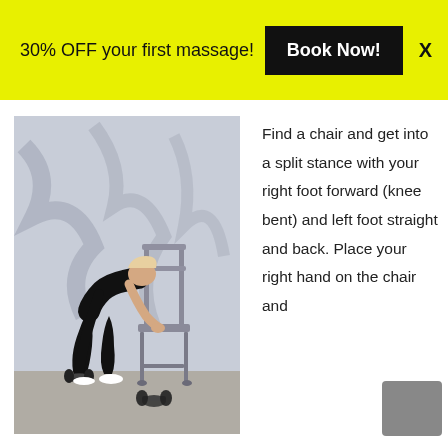30% OFF your first massage! Book Now! X
[Figure (photo): Woman in black workout clothes leaning forward in a split stance, holding a dumbbell in her right hand, left hand resting on a gray chair. A second dumbbell is on the floor. Background is a gray painted wall.]
Find a chair and get into a split stance with your right foot forward (knee bent) and left foot straight and back. Place your right hand on the chair and